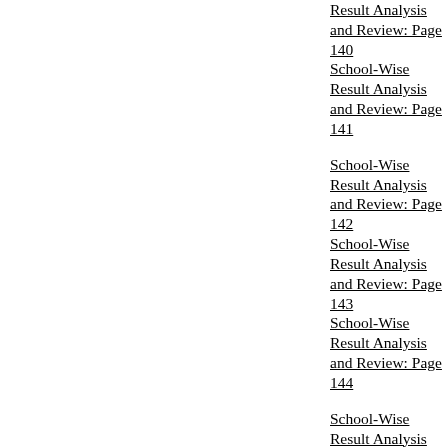School-Wise Result Analysis and Review: Page 140
School-Wise Result Analysis and Review: Page 141
School-Wise Result Analysis and Review: Page 142
School-Wise Result Analysis and Review: Page 143
School-Wise Result Analysis and Review: Page 144
School-Wise Result Analysis and Review: Page 145
School-Wise Result Analysis and Review: Page 146